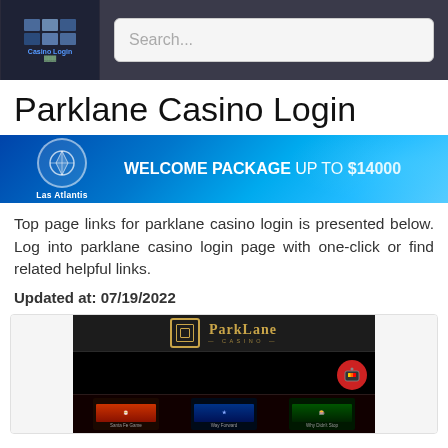Casino Login — Search...
Parklane Casino Login
[Figure (screenshot): Las Atlantis casino banner ad: WELCOME PACKAGE UP TO $14000]
Top page links for parklane casino login is presented below. Log into parklane casino login page with one-click or find related helpful links.
Updated at: 07/19/2022
[Figure (screenshot): ParkLane Casino website screenshot showing the ParkLane Casino logo on a dark background with Christmas-themed slot game thumbnails at the bottom]